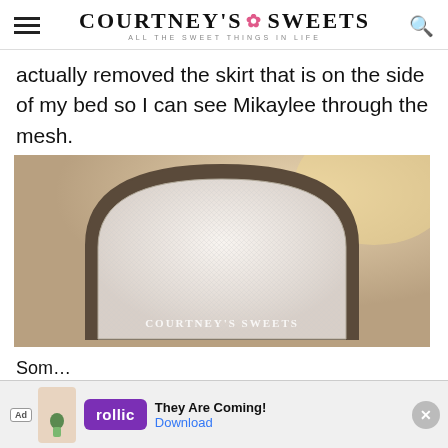COURTNEY'S SWEETS — ALL THE SWEET THINGS IN LIFE
actually removed the skirt that is on the side of my bed so I can see Mikaylee through the mesh.
[Figure (photo): Close-up photo of a mesh fabric panel with a rounded arch shape, viewed from behind, with 'COURTNEY'S SWEETS' watermark text at the bottom]
Som...